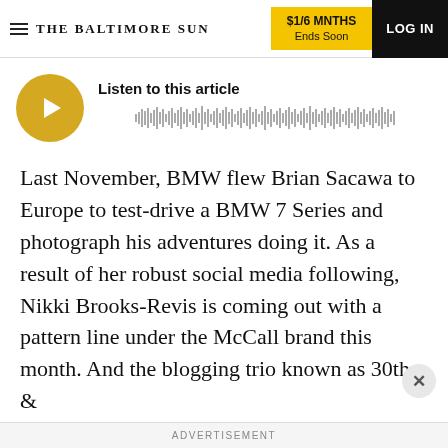THE BALTIMORE SUN | $1/6 MNTHS Ends Soon | LOG IN
[Figure (other): Audio player widget with golden play button circle and waveform visualization. Label reads 'Listen to this article'.]
Last November, BMW flew Brian Sacawa to Europe to test-drive a BMW 7 Series and photograph his adventures doing it. As a result of her robust social media following, Nikki Brooks-Revis is coming out with a pattern line under the McCall brand this month. And the blogging trio known as 30th & Weldon has teamed with national brands such as
ADVERTISEMENT